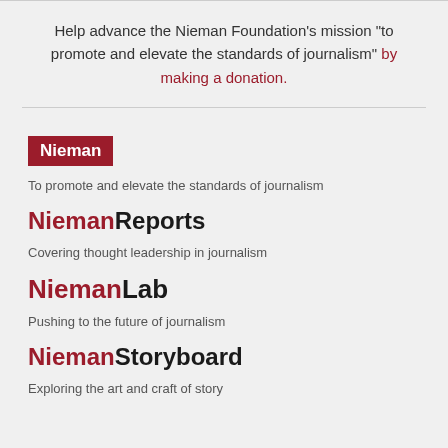Help advance the Nieman Foundation’s mission “to promote and elevate the standards of journalism” by making a donation.
[Figure (logo): Nieman logo — white bold text on dark red background]
To promote and elevate the standards of journalism
[Figure (logo): NiemanReports brand name — Nieman in dark red bold, Reports in black bold]
Covering thought leadership in journalism
[Figure (logo): NiemanLab brand name — Nieman in dark red bold, Lab in black bold]
Pushing to the future of journalism
[Figure (logo): NiemanStoryboard brand name — Nieman in dark red bold, Storyboard in black]
Exploring the art and craft of story